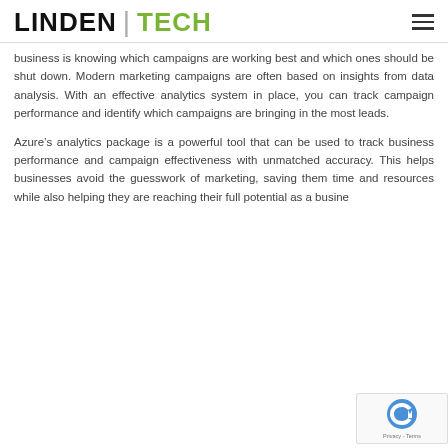LINDEN TECH
business is knowing which campaigns are working best and which ones should be shut down. Modern marketing campaigns are often based on insights from data analysis. With an effective analytics system in place, you can track campaign performance and identify which campaigns are bringing in the most leads.
Azure’s analytics package is a powerful tool that can be used to track business performance and campaign effectiveness with unmatched accuracy. This helps businesses avoid the guesswork of marketing, saving them time and resources while also helping they are reaching their full potential as a busine